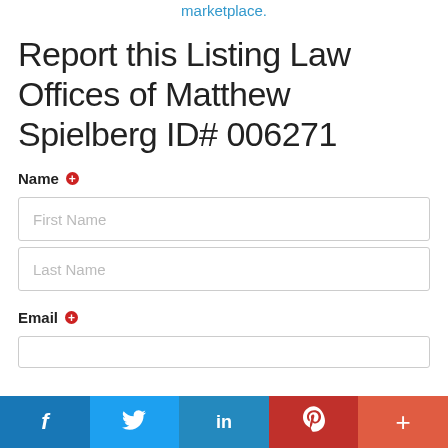marketplace.
Report this Listing Law Offices of Matthew Spielberg ID# 006271
Name ●
First Name
Last Name
Email ●
f  🐦  in  P  +